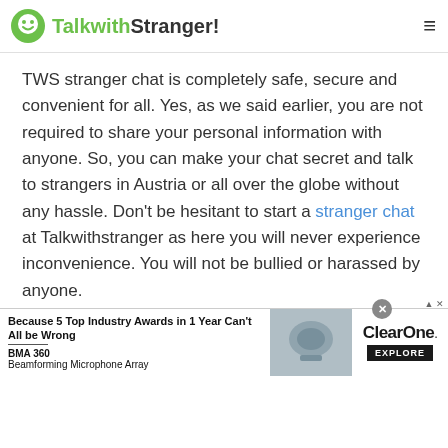TalkwithStranger!
TWS stranger chat is completely safe, secure and convenient for all. Yes, as we said earlier, you are not required to share your personal information with anyone. So, you can make your chat secret and talk to strangers in Austria or all over the globe without any hassle. Don't be hesitant to start a stranger chat at Talkwithstranger as here you will never experience inconvenience. You will not be bullied or harassed by anyone.
TWS strict chat rules allow users to make their
[Figure (screenshot): Advertisement banner for ClearOne BMA 360 Beamforming Microphone Array with headline 'Because 5 Top Industry Awards in 1 Year Can't All be Wrong' and an Explore button]